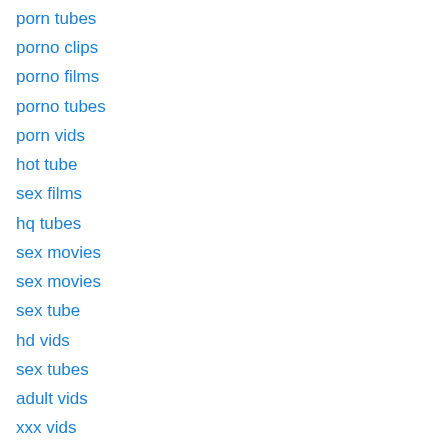porn tubes
porno clips
porno films
porno tubes
porn vids
hot tube
sex films
hq tubes
sex movies
sex movies
sex tube
hd vids
sex tubes
adult vids
xxx vids
porn tubes
adult clips
xxx vids
hot films